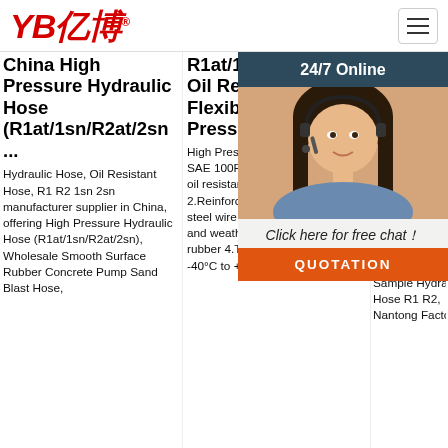[Figure (logo): YB亿博 logo in red italic bold text with registered trademark symbol]
China High Pressure Hydraulic Hose (R1at/1sn/R2at/2sn ...
Hydraulic Hose, Oil Resistant Hose, R1 R2 1sn 2sn manufacturer supplier in China, offering High Pressure Hydraulic Hose (R1at/1sn/R2at/2sn), Wholesale Smooth Surface Rubber Concrete Pump Sand Blast Hose,
R1at/1sn/R2at/2sn Oil Resistant Flexible High Pressure ...
High Pressure Hydraulic Hose SAE 100R2/EN853 2SN 1.Tube: oil resistant synthetic rubber 2.Reinforcement: two high tensile steel wire braid 3.Cover: abrasion and weather resistant synthetic rubber 4.Temperrature range: -40°C to +100°C
China Oil Resistant High Pressure Hydraulic Hose ...
Hydraulic Hose En853 2sn SAE R2at, Hot Selling High Pressure Wrapped Surface Flex Sample Hydraulic Hose R1 R2, Nantong Factory...
[Figure (photo): Customer service representative woman with headset smiling, with 24/7 Online chat overlay banner]
Click here for free chat!
QUOTATION